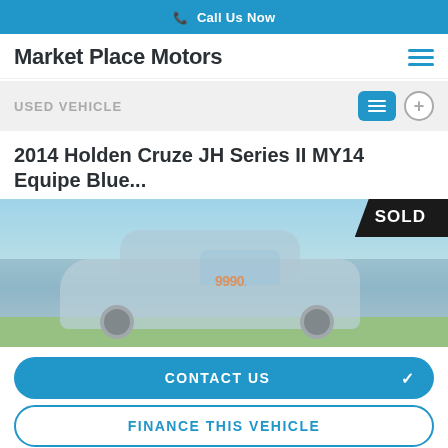Call Us Now
Market Place Motors
USED VEHICLE
2014 Holden Cruze JH Series II MY14 Equipe Blue...
[Figure (photo): Photo of a blue 2014 Holden Cruze sedan with a price sticker on windscreen and a SOLD badge in the top right corner]
CONTACT US
FINANCE THIS VEHICLE